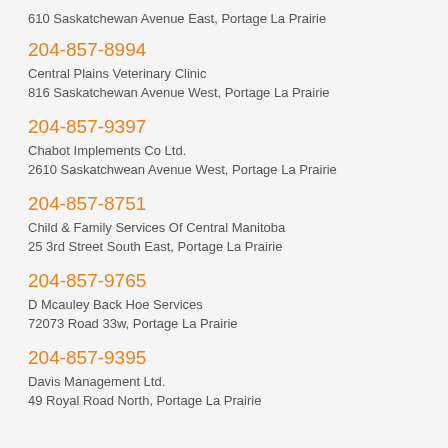610 Saskatchewan Avenue East, Portage La Prairie
204-857-8994
Central Plains Veterinary Clinic
816 Saskatchewan Avenue West, Portage La Prairie
204-857-9397
Chabot Implements Co Ltd.
2610 Saskatchwean Avenue West, Portage La Prairie
204-857-8751
Child & Family Services Of Central Manitoba
25 3rd Street South East, Portage La Prairie
204-857-9765
D Mcauley Back Hoe Services
72073 Road 33w, Portage La Prairie
204-857-9395
Davis Management Ltd.
49 Royal Road North, Portage La Prairie